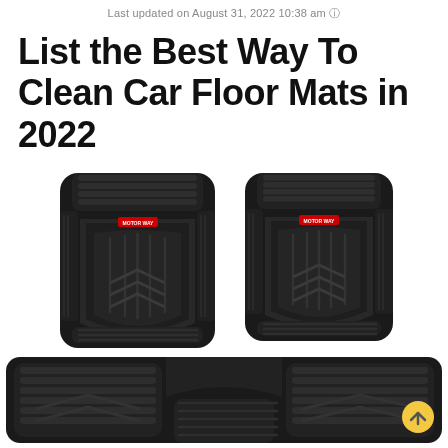Last updated on August 31, 2022 10:38 am ⓘ
List the Best Way To Clean Car Floor Mats in 2022
[Figure (photo): Set of black rubber car floor mats showing two front mats on top and one wide rear mat on the bottom, with textured surface patterns and a small red brand logo label. A yellow circular scroll-to-top button is visible in the lower right.]